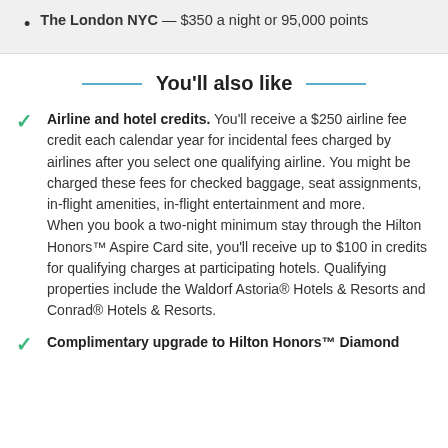The London NYC — $350 a night or 95,000 points
You'll also like
Airline and hotel credits. You'll receive a $250 airline fee credit each calendar year for incidental fees charged by airlines after you select one qualifying airline. You might be charged these fees for checked baggage, seat assignments, in-flight amenities, in-flight entertainment and more. When you book a two-night minimum stay through the Hilton Honors™ Aspire Card site, you'll receive up to $100 in credits for qualifying charges at participating hotels. Qualifying properties include the Waldorf Astoria® Hotels & Resorts and Conrad® Hotels & Resorts.
Complimentary upgrade to Hilton Honors™ Diamond